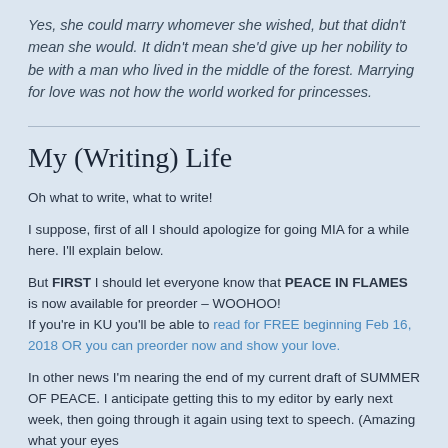Yes, she could marry whomever she wished, but that didn't mean she would. It didn't mean she'd give up her nobility to be with a man who lived in the middle of the forest. Marrying for love was not how the world worked for princesses.
My (Writing) Life
Oh what to write, what to write!
I suppose, first of all I should apologize for going MIA for a while here. I'll explain below.
But FIRST I should let everyone know that PEACE IN FLAMES is now available for preorder – WOOHOO!
If you're in KU you'll be able to read for FREE beginning Feb 16, 2018 OR you can preorder now and show your love.
In other news I'm nearing the end of my current draft of SUMMER OF PEACE. I anticipate getting this to my editor by early next week, then going through it again using text to speech. (Amazing what your eyes